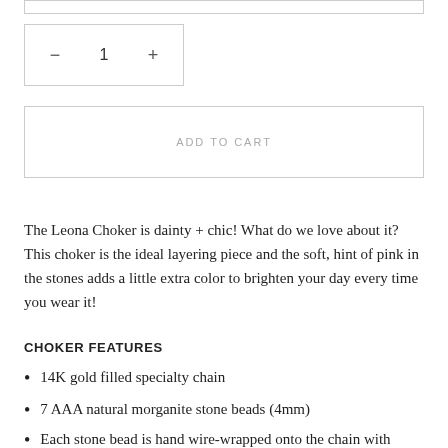ADD TO CART
The Leona Choker is dainty + chic! What do we love about it? This choker is the ideal layering piece and the soft, hint of pink in the stones adds a little extra color to brighten your day every time you wear it!
CHOKER FEATURES
14K gold filled specialty chain
7 AAA natural morganite stone beads (4mm)
Each stone bead is hand wire-wrapped onto the chain with